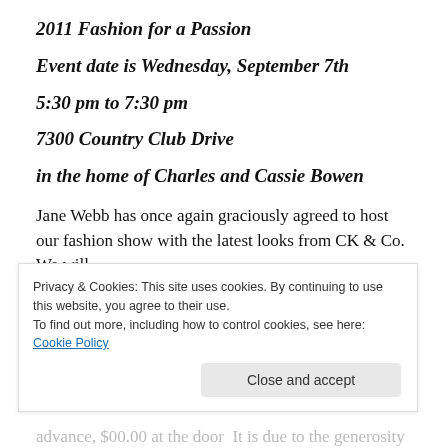2011 Fashion for a Passion
Event date is Wednesday, September 7th
5:30 pm to 7:30 pm
7300 Country Club Drive
in the home of Charles and Cassie Bowen
Jane Webb has once again graciously agreed to host our fashion show with the latest looks from CK & Co.  We will
Privacy & Cookies: This site uses cookies. By continuing to use this website, you agree to their use.
To find out more, including how to control cookies, see here: Cookie Policy
advance, $00.00 at the door  It is due to the generosity of